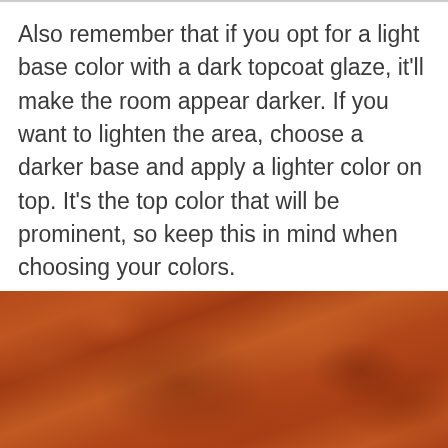Also remember that if you opt for a light base color with a dark topcoat glaze, it'll make the room appear darker. If you want to lighten the area, choose a darker base and apply a lighter color on top. It's the top color that will be prominent, so keep this in mind when choosing your colors.

If you're painting over a colored wall, make sure you do the right prep work first.
[Figure (photo): Close-up photo of a terracotta or rust-orange colored textured wall surface with visible brush stroke and glaze patterns]